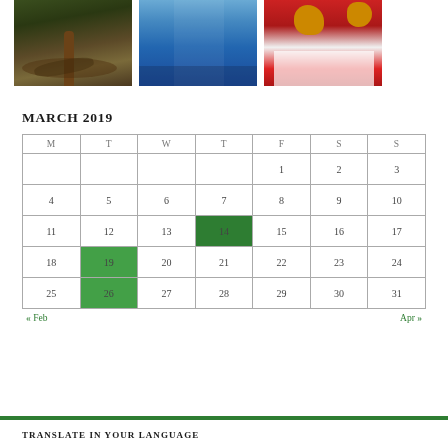[Figure (photo): Three photos side by side: a tree with exposed roots, a blue alleyway, and people in colorful costumes]
MARCH 2019
| M | T | W | T | F | S | S |
| --- | --- | --- | --- | --- | --- | --- |
|  |  |  |  | 1 | 2 | 3 |
| 4 | 5 | 6 | 7 | 8 | 9 | 10 |
| 11 | 12 | 13 | 14 | 15 | 16 | 17 |
| 18 | 19 | 20 | 21 | 22 | 23 | 24 |
| 25 | 26 | 27 | 28 | 29 | 30 | 31 |
« Feb    Apr »
TRANSLATE IN YOUR LANGUAGE